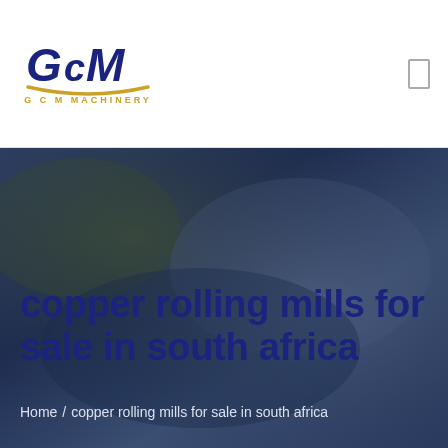[Figure (logo): GCM Machinery logo with stylized G C M letters in dark blue and gold arc beneath, text 'G C M MACHINERY' below]
copper rolling mills for sale in south africa
Home / copper rolling mills for sale in south africa